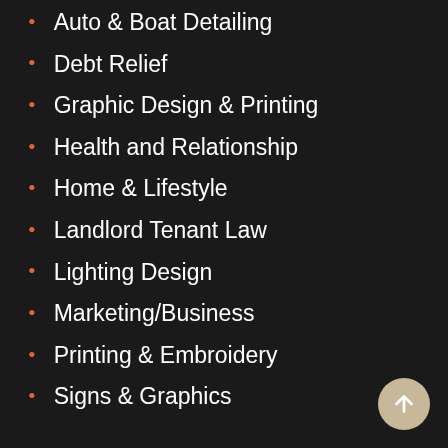Auto & Boat Detailing
Debt Relief
Graphic Design & Printing
Health and Relationship
Home & Lifestyle
Landlord Tenant Law
Lighting Design
Marketing/Business
Printing & Embroidery
Signs & Graphics